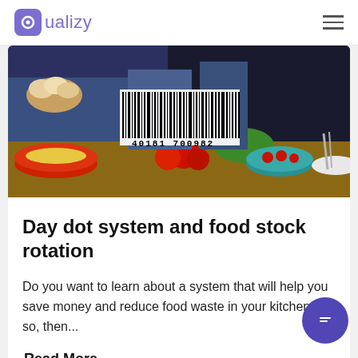Qualizy
[Figure (photo): Food items on a kitchen counter with a barcode reading 40181 700982 overlaid on the image. Visible items include bread rolls, bowls with tomatoes, greens, and other ingredients.]
Day dot system and food stock rotation
Do you want to learn about a system that will help you save money and reduce food waste in your kitchen? If so, then...
Read More